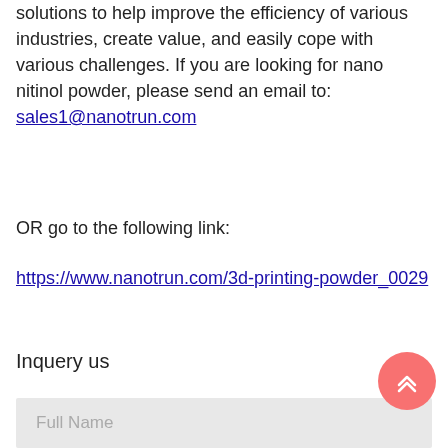solutions to help improve the efficiency of various industries, create value, and easily cope with various challenges. If you are looking for nano nitinol powder, please send an email to: sales1@nanotrun.com
OR go to the following link:
https://www.nanotrun.com/3d-printing-powder_0029
Inquery us
Full Name